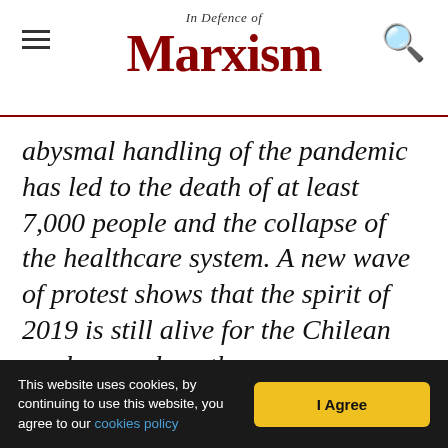In Defence of Marxism
abysmal handling of the pandemic has led to the death of at least 7,000 people and the collapse of the healthcare system. A new wave of protest shows that the spirit of 2019 is still alive for the Chilean workers and youth.
This website uses cookies, by continuing to use this website, you agree to our cookies policy